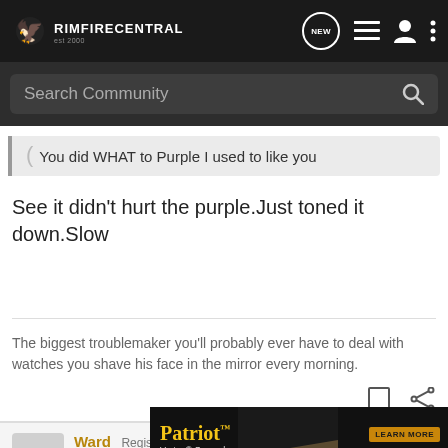RIMFIRECENTRAL
Search Community
You did WHAT to Purple I used to like you
See it didn't hurt the purple.Just toned it down.Slow
The biggest troublemaker you'll probably ever have to deal with watches you shave his face in the mirror every morning.
Ward  Registered